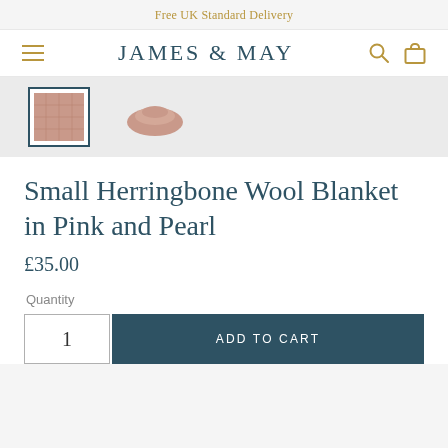Free UK Standard Delivery
JAMES & MAY
[Figure (photo): Two thumbnail images of a pink herringbone wool blanket. The first thumbnail is selected (highlighted with a border) showing a close-up folded view; the second shows a folded blanket from above.]
Small Herringbone Wool Blanket in Pink and Pearl
£35.00
Quantity
1
ADD TO CART